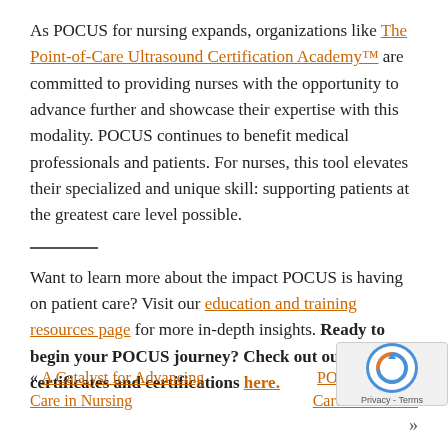As POCUS for nursing expands, organizations like The Point-of-Care Ultrasound Certification Academy™ are committed to providing nurses with the opportunity to advance further and showcase their expertise with this modality. POCUS continues to benefit medical professionals and patients. For nurses, this tool elevates their specialized and unique skill: supporting patients at the greatest care level possible.
Want to learn more about the impact POCUS is having on patient care? Visit our education and training resources page for more in-depth insights. Ready to begin your POCUS journey? Check out our many certificates and certifications here.
« A Catalyst for Advancing Care in Nursing
POCUS Drives Care on a Glo… »